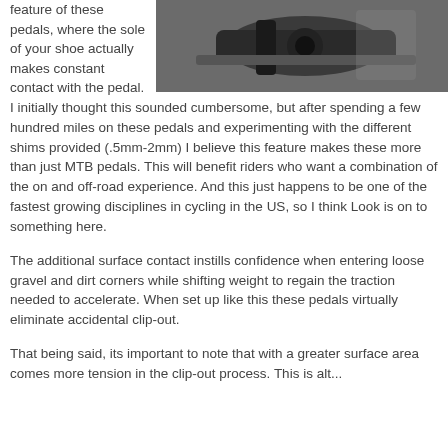[Figure (photo): Close-up photo of a dark/black bicycle pedal and crank arm, showing the pedal mechanism]
feature of these pedals, where the sole of your shoe actually makes constant contact with the pedal. I initially thought this sounded cumbersome, but after spending a few hundred miles on these pedals and experimenting with the different shims provided (.5mm-2mm) I believe this feature makes these more than just MTB pedals. This will benefit riders who want a combination of the on and off-road experience. And this just happens to be one of the fastest growing disciplines in cycling in the US, so I think Look is on to something here.
The additional surface contact instills confidence when entering loose gravel and dirt corners while shifting weight to regain the traction needed to accelerate. When set up like this these pedals virtually eliminate accidental clip-out.
That being said, its important to note that with a greater surface area comes more tension in the clip-out process. This is alt...